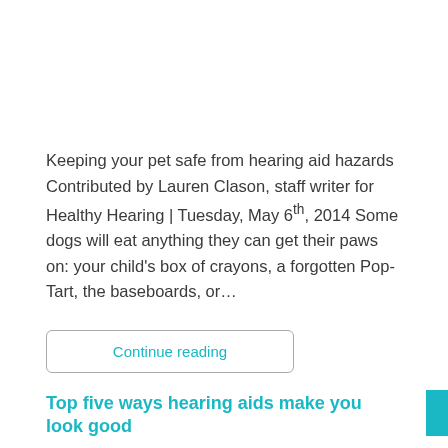Keeping your pet safe from hearing aid hazards Contributed by Lauren Clason, staff writer for Healthy Hearing | Tuesday, May 6th, 2014 Some dogs will eat anything they can get their paws on: your child's box of crayons, a forgotten Pop-Tart, the baseboards, or…
Continue reading
Top five ways hearing aids make you look good